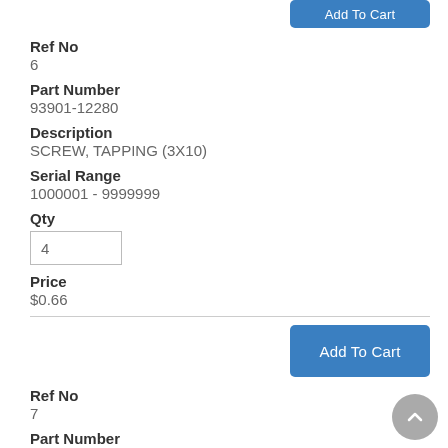Add To Cart
Ref No
6
Part Number
93901-12280
Description
SCREW, TAPPING (3X10)
Serial Range
1000001 - 9999999
Qty
4
Price
$0.66
Add To Cart
Ref No
7
Part Number
93901-34320